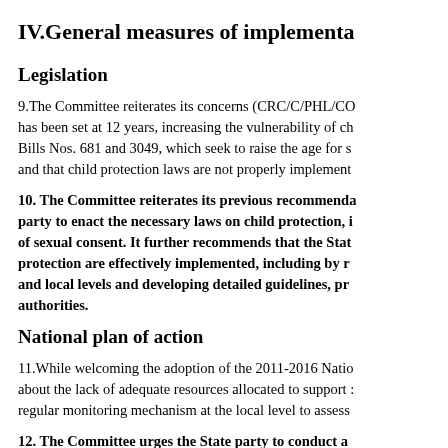IV.General measures of implementa…
Legislation
9.The Committee reiterates its concerns (CRC/C/PHL/CO… has been set at 12 years, increasing the vulnerability of ch… Bills Nos. 681 and 3049, which seek to raise the age for s… and that child protection laws are not properly implement…
10. The Committee reiterates its previous recommenda… party to enact the necessary laws on child protection, i… of sexual consent. It further recommends that the Stat… protection are effectively implemented, including by r… and local levels and developing detailed guidelines, pr… authorities.
National plan of action
11.While welcoming the adoption of the 2011-2016 Natio… about the lack of adequate resources allocated to support … regular monitoring mechanism at the local level to assess…
12. The Committee urges the State party to conduct a…